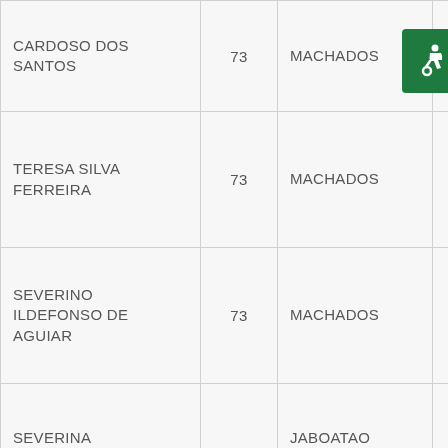| Name | Age | City | Num | Code |
| --- | --- | --- | --- | --- |
| CARDOSO DOS SANTOS | 73 | MACHADOS | 2 | 514 |
| TERESA SILVA FERREIRA | 73 | MACHADOS | 2 |  |
| SEVERINO ILDEFONSO DE AGUIAR | 73 | MACHADOS | 2 | 514 |
| SEVERINA BATISTA DE FARIAS | 73 | JABOATAO DOS GUARARAPES | 2 | 514 |